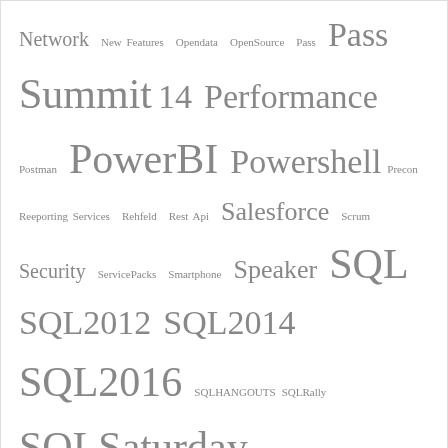[Figure (infographic): Tag cloud with terms: Network, New Features, Opendata, OpenSource, Pass, Pass, Summit 14, Performance, Postman, PowerBI, Powershell, Precon, Reeporting Services, Rehfeld, Rest Api, Salesforce, Scrum, Security, ServicePacks, Smartphone, Speaker, SQL, SQL2012, SQL2014, SQL2016, SQLHANGOUTS, SQLRally, SQLSaturday, SQLShack, SQLSUG, SSIS, SSMS, SSRS, SubscriptionViews, Surrogatekeys, Tech-Talk, Tricks, Unkownmember, Visualization, Waterfall]
Follow me on Twitter
My Tweets
Categories
[Figure (infographic): Category tag cloud partial view: Analytics Platform System, Azure, Big Data, Blog]